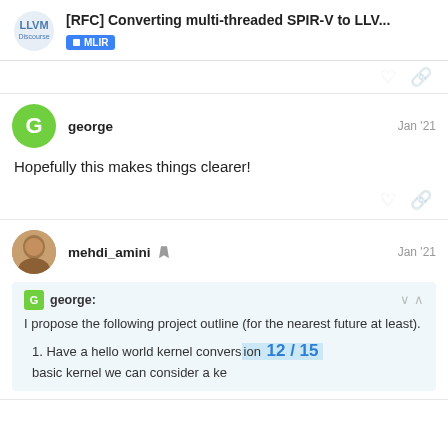[RFC] Converting multi-threaded SPIR-V to LLV... | MLIR
george  Jan '21
Hopefully this makes things clearer!
mehdi_amini  Jan '21
george: I propose the following project outline (for the nearest future at least).
Have a hello world kernel convers… basic kernel we can consider a ke…